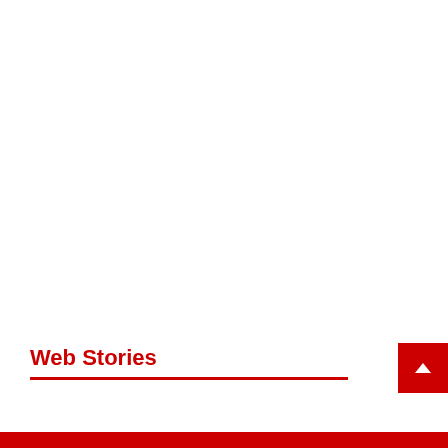Web Stories
[Figure (other): Red scroll-to-top button with upward chevron arrow, positioned at right edge near section header]